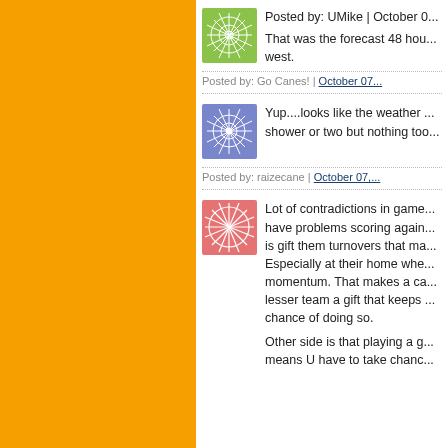[Figure (illustration): Green decorative avatar icon with geometric star/flower pattern]
Posted by: UMike | October 0...
That was the forecast 48 hou... west.
Posted by: Go Canes! | October 07...
[Figure (illustration): Blue/purple decorative avatar icon with geometric star/flower pattern]
Yup....looks like the weather ... shower or two but nothing too...
Posted by: raizecane | October 07,...
[Figure (illustration): Red/pink decorative avatar icon with geometric pattern]
Lot of contradictions in game... have problems scoring again... is gift them turnovers that ma... Especially at their home whe... momentum. That makes a ca... lesser team a gift that keeps ... chance of doing so.
Other side is that playing a g... means U have to take chanc...